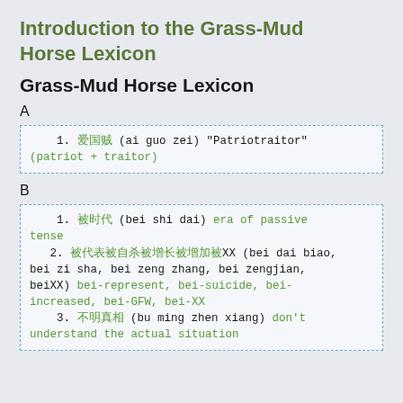Introduction to the Grass-Mud Horse Lexicon
Grass-Mud Horse Lexicon
A
1. 爱国贼 (ai guo zei) "Patriotraitor" (patriot + traitor)
B
1. 被时代 (bei shi dai) era of passive tense
2. 被代表被自杀被增长被增加被XX, 被XX (bei dai biao, bei zi sha, bei zeng zhang, bei zengjian, beiXX) bei-represent, bei-suicide, bei-increased, bei-GFW, bei-XX
3. 不明真相 (bu ming zhen xiang) don't understand the actual situation